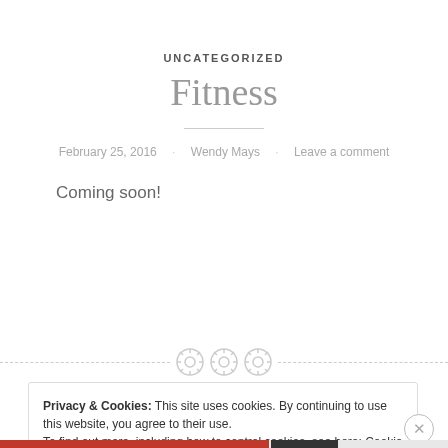UNCATEGORIZED
Fitness
February 25, 2016 · Wendy Mays · Leave a comment
Coming soon!
[Figure (other): Decorative separator with three circular button/gear icons on a dashed line]
Privacy & Cookies: This site uses cookies. By continuing to use this website, you agree to their use.
To find out more, including how to control cookies, see here: Cookie Policy
Close and accept